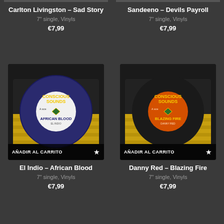Carlton Livingston – Sad Story
7" single, Vinyls
€7,99
Sandeeno – Devils Payroll
7" single, Vinyls
€7,99
[Figure (photo): 7 inch vinyl record with blue Conscious Sounds label, titled African Blood by El Indio, with AÑADIR AL CARRITO button]
[Figure (photo): 7 inch vinyl record with orange Conscious Sounds label, titled Blazing Fire by Danny Red, with AÑADIR AL CARRITO button]
El Indio – African Blood
7" single, Vinyls
€7,99
Danny Red – Blazing Fire
7" single, Vinyls
€7,99